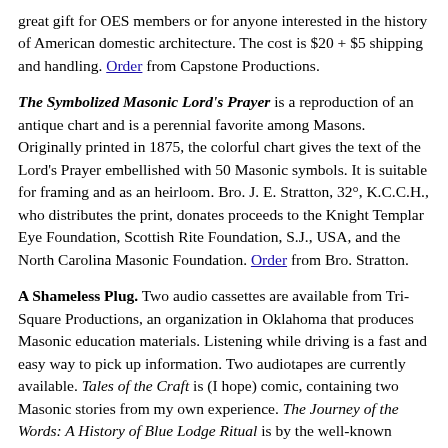great gift for OES members or for anyone interested in the history of American domestic architecture. The cost is $20 + $5 shipping and handling. Order from Capstone Productions.
The Symbolized Masonic Lord's Prayer is a reproduction of an antique chart and is a perennial favorite among Masons. Originally printed in 1875, the colorful chart gives the text of the Lord's Prayer embellished with 50 Masonic symbols. It is suitable for framing and as an heirloom. Bro. J. E. Stratton, 32°, K.C.C.H., who distributes the print, donates proceeds to the Knight Templar Eye Foundation, Scottish Rite Foundation, S.J., USA, and the North Carolina Masonic Foundation. Order from Bro. Stratton.
A Shameless Plug. Two audio cassettes are available from Tri-Square Productions, an organization in Oklahoma that produces Masonic education materials. Listening while driving is a fast and easy way to pick up information. Two audiotapes are currently available. Tales of the Craft is (I hope) comic, containing two Masonic stories from my own experience. The Journey of the Words: A History of Blue Lodge Ritual is by the well-known Masonic scholar Ill. Robert G. Davis, 33°, and traces the broad outlines of the development of the ritual. Tapes are $10 ea., s/h included. Order from Tri-Square.
Masonic Billfold. For those of us holding together a dilapidated